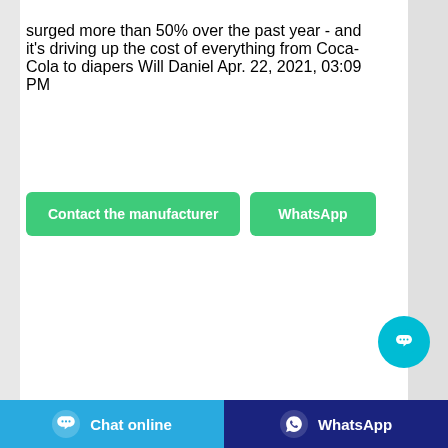surged more than 50% over the past year - and it's driving up the cost of everything from Coca-Cola to diapers Will Daniel Apr. 22, 2021, 03:09 PM
[Figure (other): Green 'Contact the manufacturer' button and green 'WhatsApp' button side by side]
[Figure (photo): Dark blue/grey blurred background photo with a flower and number 3 visible at the bottom]
[Figure (other): Cyan circular chat bubble floating action button with ellipsis icon]
Chat online   WhatsApp